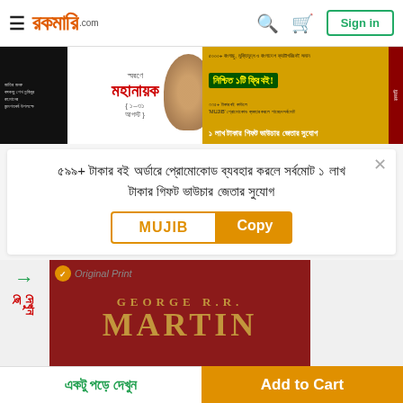Rokomari.com navigation bar with hamburger menu, logo, search, cart, and Sign in button
[Figure (infographic): Rokomari Mohanayak book fair banner with Bengali text about 5000+ books and free book offer, prize of 1 lakh taka gift voucher using promo code MUJIB]
৫৯৯+ টাকার বই অর্ডারে প্রোমোকোড ব্যবহার করলে সর্বমোট ১ লাখ টাকার গিফট ভাউচার জেতার সুযোগ
MUJIB  Copy
[Figure (photo): Book cover of George R.R. Martin with dark red background and gold text, with Original Print badge and Bengali sidebar label]
একটু পড়ে দেখুন
Add to Cart